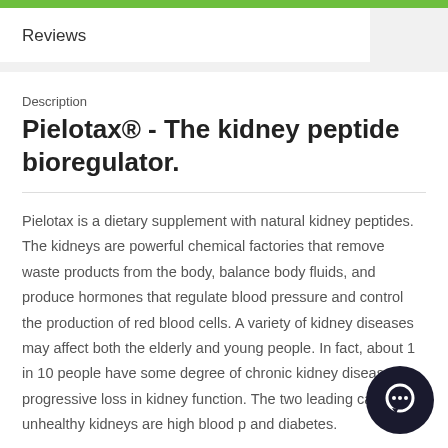Reviews
Description
Pielotax® - The kidney peptide bioregulator.
Pielotax is a dietary supplement with natural kidney peptides. The kidneys are powerful chemical factories that remove waste products from the body, balance body fluids, and produce hormones that regulate blood pressure and control the production of red blood cells. A variety of kidney diseases may affect both the elderly and young people. In fact, about 1 in 10 people have some degree of chronic kidney disease, a progressive loss in kidney function. The two leading causes of unhealthy kidneys are high blood pressure and diabetes.